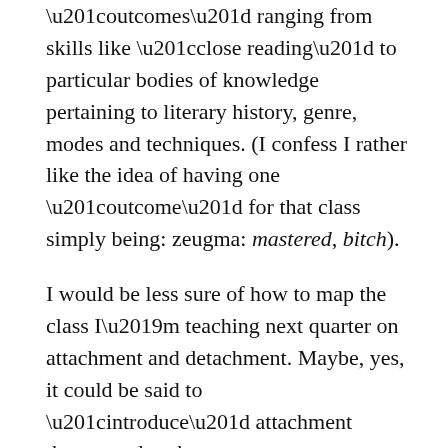“outcomes” ranging from skills like “close reading” to particular bodies of knowledge pertaining to literary history, genre, modes and techniques. (I confess I rather like the idea of having one “outcome” for that class simply being: zeugma: mastered, bitch).
I would be less sure of how to map the class I’m teaching next quarter on attachment and detachment. Maybe, yes, it could be said to “introduce” attachment theory, and perhaps to “develop” students’ acquaintance with the novel form. But what would “mastery” look like?